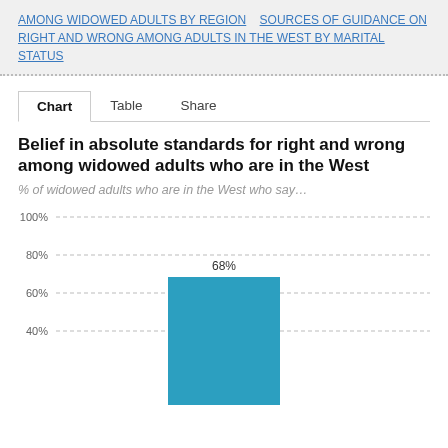AMONG WIDOWED ADULTS BY REGION   SOURCES OF GUIDANCE ON RIGHT AND WRONG AMONG ADULTS IN THE WEST BY MARITAL STATUS
Belief in absolute standards for right and wrong among widowed adults who are in the West
% of widowed adults who are in the West who say…
[Figure (bar-chart): Belief in absolute standards for right and wrong among widowed adults who are in the West]